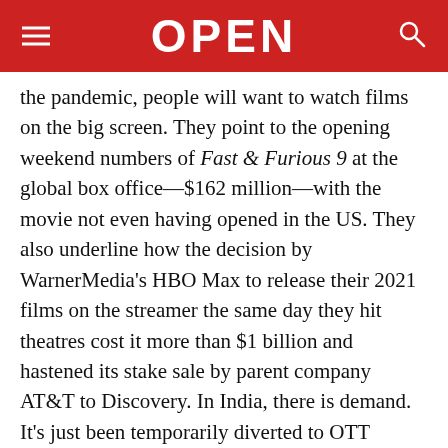OPEN
the pandemic, people will want to watch films on the big screen. They point to the opening weekend numbers of Fast & Furious 9 at the global box office—$162 million—with the movie not even having opened in the US. They also underline how the decision by WarnerMedia's HBO Max to release their 2021 films on the streamer the same day they hit theatres cost it more than $1 billion and hastened its stake sale by parent company AT&T to Discovery. In India, there is demand. It's just been temporarily diverted to OTT platforms, with a total of 58 million subscribers and 400 million unique viewers, and television, which has 780